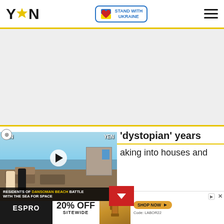YEN — Stand With Ukraine — Navigation
[Figure (photo): Advertisement banner placeholder area (light gray background)]
'dystopian' years
aking into houses and
[Figure (screenshot): YEN video overlay: Residents of Dansoman Beach battle with the sea for space. Shows rubble and beachfront scene with play button. Two YEN logos in corners.]
[Figure (photo): Bottom advertisement: ESPRO coffee equipment, 20% OFF SITEWIDE, Shop Now, Code: LABOR22]